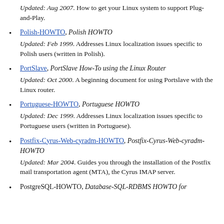Updated: Aug 2007. How to get your Linux system to support Plug-and-Play.
Polish-HOWTO, Polish HOWTO
Updated: Feb 1999. Addresses Linux localization issues specific to Polish users (written in Polish).
PortSlave, PortSlave How-To using the Linux Router
Updated: Oct 2000. A beginning document for using Portslave with the Linux router.
Portuguese-HOWTO, Portuguese HOWTO
Updated: Dec 1999. Addresses Linux localization issues specific to Portuguese users (written in Portuguese).
Postfix-Cyrus-Web-cyradm-HOWTO, Postfix-Cyrus-Web-cyradm-HOWTO
Updated: Mar 2004. Guides you through the installation of the Postfix mail transportation agent (MTA), the Cyrus IMAP server.
PostgreSQL-HOWTO, Database-SQL-RDBMS HOWTO for